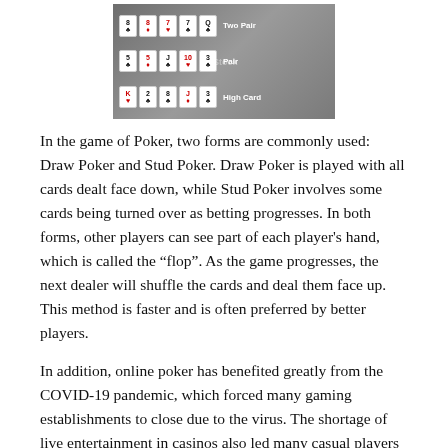[Figure (photo): A poker hand ranking chart showing card combinations: Two Pair (8♣ 8♦ 7♥ 7♣ Q♣), Pair (5♣ 5♦ J♣ 10♥ 3♣), High Card (K♥ 2♣ 8♣ J♦ 3♣). iStock watermark visible.]
In the game of Poker, two forms are commonly used: Draw Poker and Stud Poker. Draw Poker is played with all cards dealt face down, while Stud Poker involves some cards being turned over as betting progresses. In both forms, other players can see part of each player's hand, which is called the “flop”. As the game progresses, the next dealer will shuffle the cards and deal them face up. This method is faster and is often preferred by better players.
In addition, online poker has benefited greatly from the COVID-19 pandemic, which forced many gaming establishments to close due to the virus. The shortage of live entertainment in casinos also led many casual players to turn to